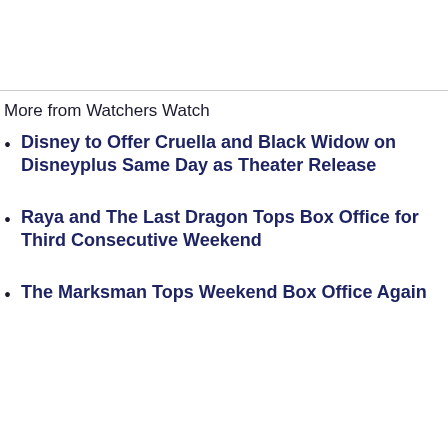More from Watchers Watch
Disney to Offer Cruella and Black Widow on Disneyplus Same Day as Theater Release
Raya and The Last Dragon Tops Box Office for Third Consecutive Weekend
The Marksman Tops Weekend Box Office Again